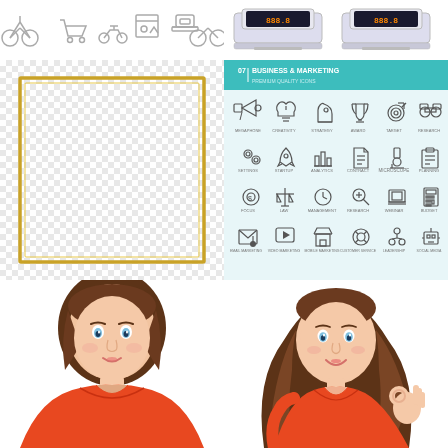[Figure (illustration): Row of small transport/vehicle icons (bicycle, shopping cart, scooter, frame, scale, bicycle) in light gray outline style at top left]
[Figure (illustration): Two digital weighing scales with LCD displays showing '888.8' in silver/gray, placed side by side at top right]
[Figure (illustration): Gold/yellow square decorative frame border on white checkered (transparent) background, left side middle]
[Figure (illustration): Business & Marketing icon set on light blue background with teal header bar reading '07 | BUSINESS & MARKETING'. Contains 24 line icons: megaphone, lightbulb, chess knight, trophy, target/dartboard, binoculars, settings gears, rocket, analytics chart, document/contract, microscope, clipboard, target circle, scales of justice, clock, search/analysis, laptop, calculator, email/shop, video play, store, lifebuoy, org chart people, robot/digital marketing]
[Figure (illustration): Illustrated portrait of a plus-size young woman with brown hair, blue eyes, wearing a red/orange short-sleeve top, neutral expression, front-facing bust view]
[Figure (illustration): Illustrated portrait of a slim young woman with long flowing brown hair, blue eyes, wearing a red/orange short-sleeve top, smiling, making an OK hand gesture with right hand, bust view]